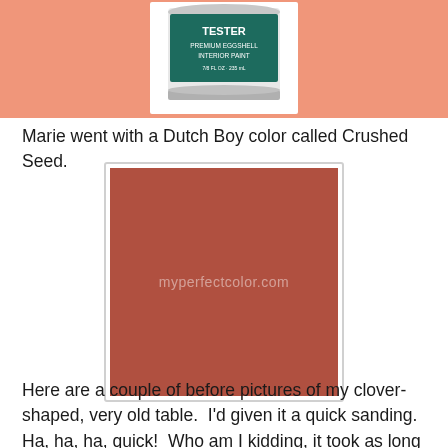[Figure (photo): Paint tester can labeled 'TESTER PREMIUM EGGSHELL INTERIOR PAINT' with teal/dark green color, on a salmon/peach colored background]
Marie went with a Dutch Boy color called Crushed Seed.
[Figure (illustration): A solid dusty red/terracotta color swatch square with a watermark reading 'myperfectcolor.com']
Here are a couple of before pictures of my clover-shaped, very old table.  I'd given it a quick sanding.  Ha, ha, ha, quick!  Who am I kidding, it took as long as one would expect